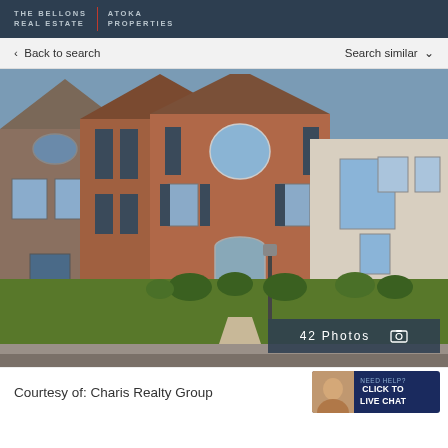REAL ESTATE | PROPERTIES
< Back to search | Search similar ∨
[Figure (photo): Exterior photo of a red brick colonial-style townhouse with dark shutters, arched window above front door, green lawn, and shrubs. Photo gallery button shows 42 Photos.]
42 Photos
Courtesy of: Charis Realty Group